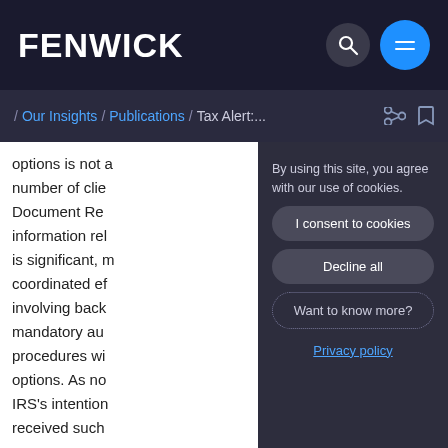FENWICK
/ Our Insights / Publications / Tax Alert:...
options is not a number of clie Document Re information rel is significant, m coordinated e involving back mandatory au procedures wi options. As no IRS's intention received such
By using this site, you agree with our use of cookies.
I consent to cookies
Decline all
Want to know more?
Privacy policy